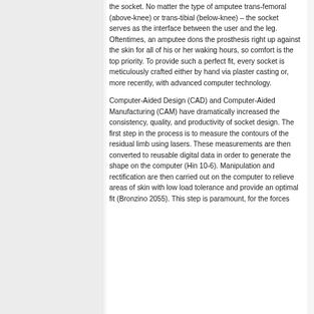the socket. No matter the type of amputee trans-femoral (above-knee) or trans-tibial (below-knee) – the socket serves as the interface between the user and the leg. Oftentimes, an amputee dons the prosthesis right up against the skin for all of his or her waking hours, so comfort is the top priority. To provide such a perfect fit, every socket is meticulously crafted either by hand via plaster casting or, more recently, with advanced computer technology.
Computer-Aided Design (CAD) and Computer-Aided Manufacturing (CAM) have dramatically increased the consistency, quality, and productivity of socket design. The first step in the process is to measure the contours of the residual limb using lasers. These measurements are then converted to reusable digital data in order to generate the shape on the computer (Hin 10-6). Manipulation and rectification are then carried out on the computer to relieve areas of skin with low load tolerance and provide an optimal fit (Bronzino 2055). This step is paramount, for the forces